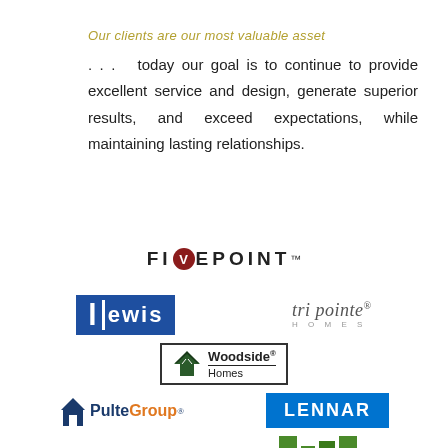Our clients are our most valuable asset
. . .  today our goal is to continue to provide excellent service and design, generate superior results, and exceed expectations, while maintaining lasting relationships.
[Figure (logo): FivePoint logo with V in red circle between FI and EPOINT in bold letters]
[Figure (logo): Lewis Homes logo in blue, Tri Pointe Homes logo in grey italic, Woodside Homes logo with house icon, PulteGroup logo with house icon, Lennar logo in blue rectangle, and partial logos of Shea and Kitchell]
[Figure (logo): Partial Shea logo and partial Kitchell logo at the bottom]